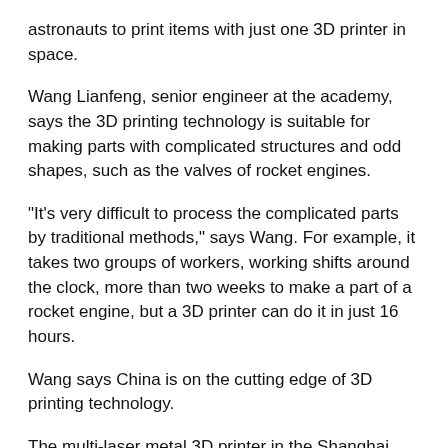astronauts to print items with just one 3D printer in space.
Wang Lianfeng, senior engineer at the academy, says the 3D printing technology is suitable for making parts with complicated structures and odd shapes, such as the valves of rocket engines.
“It’s very difficult to process the complicated parts by traditional methods,” says Wang. For example, it takes two groups of workers, working shifts around the clock, more than two weeks to make a part of a rocket engine, but a 3D printer can do it in just 16 hours.
Wang says China is on the cutting edge of 3D printing technology.
The multi-laser metal 3D printer in the Shanghai Academy of Spaceflight Technology is like a gray-colored cabinet.